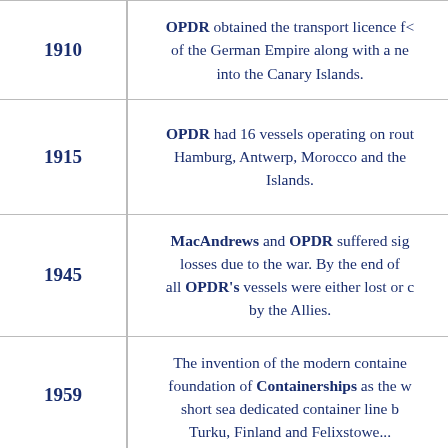| Year | Event |
| --- | --- |
| 1910 | OPDR obtained the transport licence for of the German Empire along with a ne into the Canary Islands. |
| 1915 | OPDR had 16 vessels operating on rout Hamburg, Antwerp, Morocco and the Islands. |
| 1945 | MacAndrews and OPDR suffered sig losses due to the war. By the end of all OPDR's vessels were either lost or c by the Allies. |
| 1959 | The invention of the modern containe foundation of Containerships as the w short sea dedicated container line b Turku, Finland and Felixstowe... |